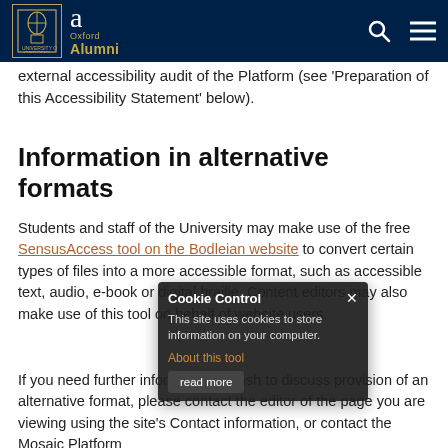University of Oxford Alumni
external accessibility audit of the Platform (see 'Preparation of this Accessibility Statement' below).
Information in alternative formats
Students and staff of the University may make use of the free SensusAccess tool on the Bodleian website to convert certain types of files into a more accessible format, such as accessible text, audio, e-book or digital braille. Content editors may also make use of this tool on behalf of website users.
If you need further information or wish to discuss provision of an alternative format, please contact the editor of the page you are viewing using the site's Contact information, or contact the Mosaic Platform...
Cookie Control
This site uses cookies to store information on your computer.
About this tool
read more